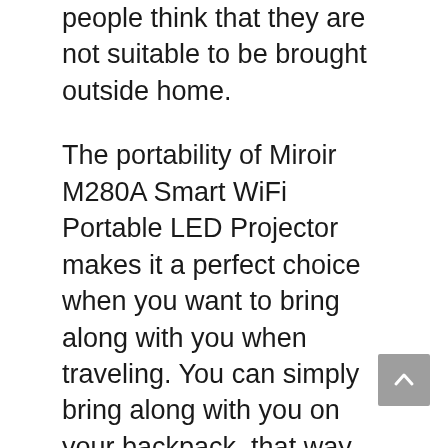people think that they are not suitable to be brought outside home.
The portability of Miroir M280A Smart WiFi Portable LED Projector makes it a perfect choice when you want to bring along with you when traveling. You can simply bring along with you on your backpack, that way you have the TV shows or movie everywhere with you whenever you are free.
You can also bring it to wherever you go so that there is no need for other device. All the connections required are already present in this small projector, making it very easy to use.
Pros